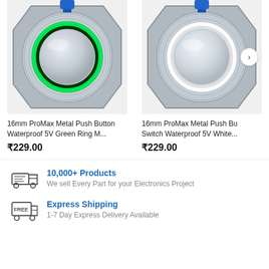[Figure (photo): Metal push button switch with green LED ring illumination, silver metallic body, front-facing view]
16mm ProMax Metal Push Button Waterproof 5V Green Ring M...
₹229.00
[Figure (photo): Metal push button switch with white LED ring illumination, silver metallic body, with navigation arrow overlay]
16mm ProMax Metal Push Button Switch Waterproof 5V White...
₹229.00
10,000+ Products
We sell Every Part for your Electronics Project
Express Shipping
1-7 Day Express Delivery Available